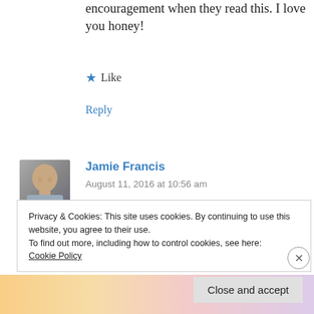encouragement when they read this. I love you honey!
Like
Reply
[Figure (photo): Avatar photo of Jamie Francis – bald man in grey t-shirt]
Jamie Francis
August 11, 2016 at 10:56 am
You have always loved her, Gina! This is just me speaking generally here over the years of interacting
Privacy & Cookies: This site uses cookies. By continuing to use this website, you agree to their use.
To find out more, including how to control cookies, see here: Cookie Policy
Close and accept